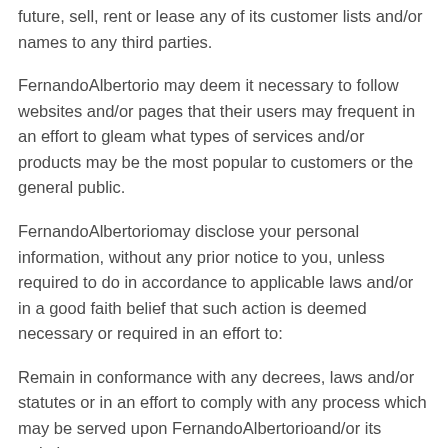future, sell, rent or lease any of its customer lists and/or names to any third parties.
FernandoAlbertorio may deem it necessary to follow websites and/or pages that their users may frequent in an effort to gleam what types of services and/or products may be the most popular to customers or the general public.
FernandoAlbertoriomay disclose your personal information, without any prior notice to you, unless required to do in accordance to applicable laws and/or in a good faith belief that such action is deemed necessary or required in an effort to:
Remain in conformance with any decrees, laws and/or statutes or in an effort to comply with any process which may be served upon FernandoAlbertorioand/or its website;
Maintain, safeguard and/or preserve all the rights